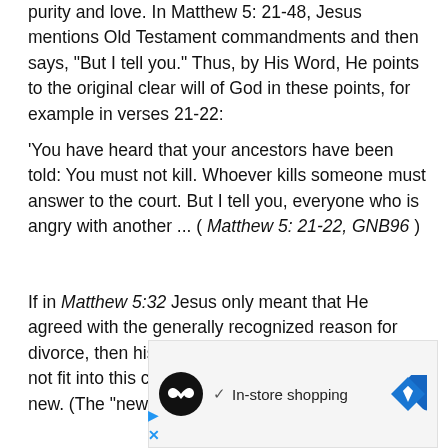purity and love. In Matthew 5: 21-48, Jesus mentions Old Testament commandments and then says, "But I tell you." Thus, by His Word, He points to the original clear will of God in these points, for example in verses 21-22:
'You have heard that your ancestors have been told: You must not kill. Whoever kills someone must answer to the court. But I tell you, everyone who is angry with another ... ( Matthew 5: 21-22, GNB96 )
If in Matthew 5:32 Jesus only meant that He agreed with the generally recognized reason for divorce, then his statements about Divorce would not fit into this context. He would then bring nothing new. (The "new"
[Figure (other): Advertisement banner showing a circular black icon with an infinity-like symbol, a checkmark with the text 'In-store shopping', and a blue diamond-shaped navigation icon.]